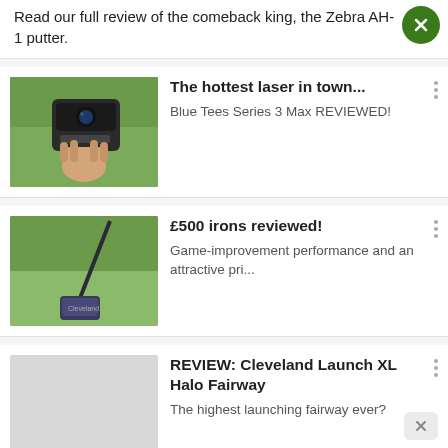Read our full review of the comeback king, the Zebra AH-1 putter.
[Figure (photo): Hand holding a golf laser rangefinder device against a green grass background]
The hottest laser in town...
Blue Tees Series 3 Max REVIEWED!
[Figure (photo): Cleveland golf iron club against a green grass background]
£500 irons reviewed!
Game-improvement performance and an attractive pri...
[Figure (photo): Light gray placeholder image for Cleveland Launch XL Halo Fairway review]
REVIEW: Cleveland Launch XL Halo Fairway
The highest launching fairway ever?